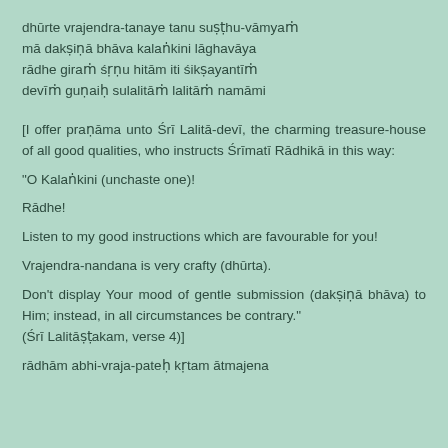dhūrte vrajendra-tanaye tanu suṣṭhu-vāmyaṁ
mā dakṣiṇā bhāva kalaṅkini lāghavāya
rādhe giraṁ śṛṇu hitām iti śikṣayantīṁ
devīṁ guṇaiḥ sulalitāṁ lalitāṁ namāmi
[I offer praṇāma unto Śrī Lalitā-devī, the charming treasure-house of all good qualities, who instructs Śrīmatī Rādhikā in this way:

"O Kalaṅkini (unchaste one)!

Rādhe!

Listen to my good instructions which are favourable for you!

Vrajendra-nandana is very crafty (dhūrta).

Don't display Your mood of gentle submission (dakṣiṇā bhāva) to Him; instead, in all circumstances be contrary."
(Śrī Lalitāṣṭakam, verse 4)]
rādhām abhi-vraja-pateḥ kṛtam ātmajena